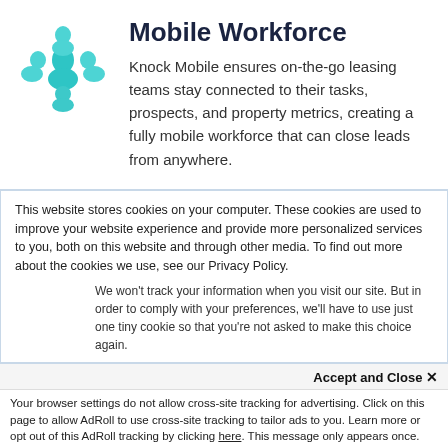[Figure (illustration): Teal/cyan icon of a group of people (workforce/team symbol) arranged in a flower-like pattern]
Mobile Workforce
Knock Mobile ensures on-the-go leasing teams stay connected to their tasks, prospects, and property metrics, creating a fully mobile workforce that can close leads from anywhere.
This website stores cookies on your computer. These cookies are used to improve your website experience and provide more personalized services to you, both on this website and through other media. To find out more about the cookies we use, see our Privacy Policy.
We won't track your information when you visit our site. But in order to comply with your preferences, we'll have to use just one tiny cookie so that you're not asked to make this choice again.
Accept and Close ✕
Your browser settings do not allow cross-site tracking for advertising. Click on this page to allow AdRoll to use cross-site tracking to tailor ads to you. Learn more or opt out of this AdRoll tracking by clicking here. This message only appears once.